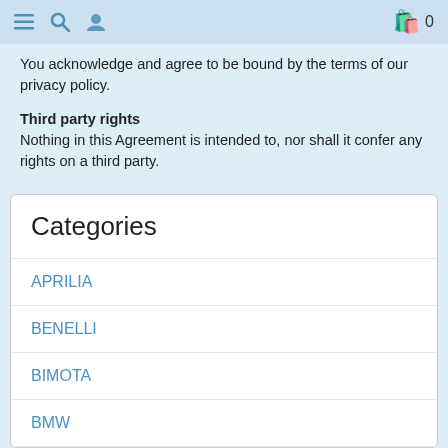Navigation header with menu, search, user icons and shopping cart (0)
You acknowledge and agree to be bound by the terms of our privacy policy.
Third party rights
Nothing in this Agreement is intended to, nor shall it confer any rights on a third party.
Categories
APRILIA
BENELLI
BIMOTA
BMW